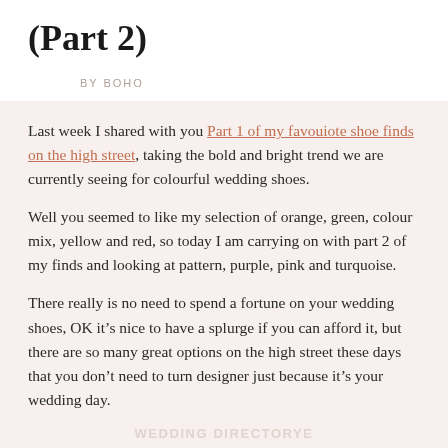(Part 2)
BY BOHO
Last week I shared with you Part 1 of my favouiote shoe finds on the high street, taking the bold and bright trend we are currently seeing for colourful wedding shoes.
Well you seemed to like my selection of orange, green, colour mix, yellow and red, so today I am carrying on with part 2 of my finds and looking at pattern, purple, pink and turquoise.
There really is no need to spend a fortune on your wedding shoes, OK it’s nice to have a splurge if you can afford it, but there are so many great options on the high street these days that you don’t need to turn designer just because it’s your wedding day.